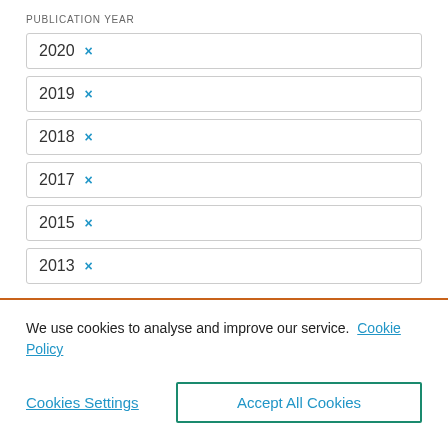PUBLICATION YEAR
2020 ×
2019 ×
2018 ×
2017 ×
2015 ×
2013 ×
We use cookies to analyse and improve our service. Cookie Policy
Cookies Settings   Accept All Cookies